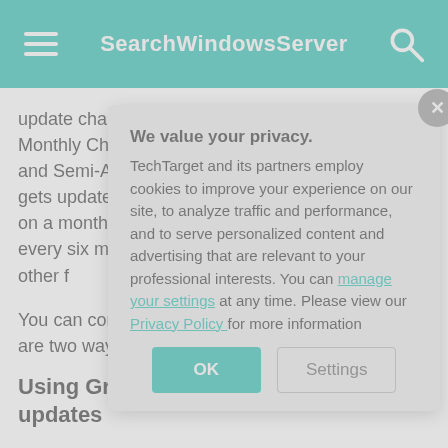SearchWindowsServer
update channels: Insider Fast, Monthly Channel, Monthly Channel (Targeted), Semi-Annual Channel and Semi-Annual Channel (Targeted). Insider Fast gets updates first, Monthly Channel updates arrive on a monthly basis and Semi-Annual updates come every six months. Use updates first so that you can spot issues or other f
You can configure ProPlus deployments (ODT), but this are two ways to deployment: Gro
Using Group updates
[Figure (screenshot): Privacy consent modal dialog with title 'We value your privacy.' and text explaining TechTarget and partners use cookies. Contains links to 'manage your settings' and 'Privacy Policy', with OK and Settings buttons.]